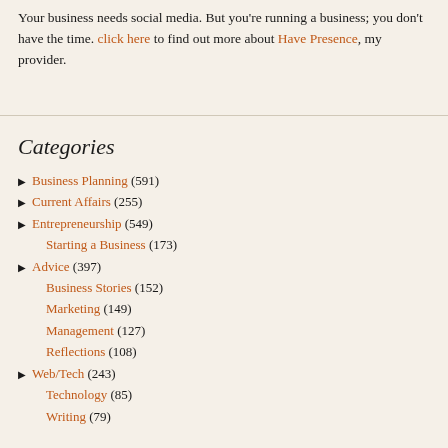Your business needs social media. But you're running a business; you don't have the time. click here to find out more about Have Presence, my provider.
Categories
▶ Business Planning (591)
▶ Current Affairs (255)
▶ Entrepreneurship (549)
Starting a Business (173)
▶ Advice (397)
Business Stories (152)
Marketing (149)
Management (127)
Reflections (108)
▶ Web/Tech (243)
Technology (85)
Writing (79)